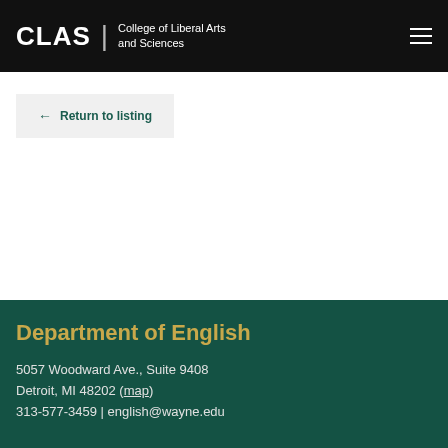CLAS | College of Liberal Arts and Sciences
← Return to listing
[Figure (infographic): Social media icons row: Facebook, Twitter, Instagram, Flickr, YouTube — circular grey icons on dark teal background]
Department of English
5057 Woodward Ave., Suite 9408
Detroit, MI 48202 (map)
313-577-3459 | english@wayne.edu